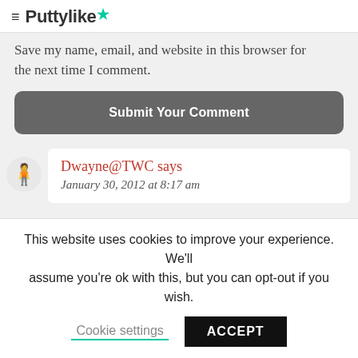≡ Puttylike★
Save my name, email, and website in this browser for the next time I comment.
Submit Your Comment
Dwayne@TWC says
January 30, 2012 at 8:17 am
This website uses cookies to improve your experience. We'll assume you're ok with this, but you can opt-out if you wish.
Cookie settings
ACCEPT